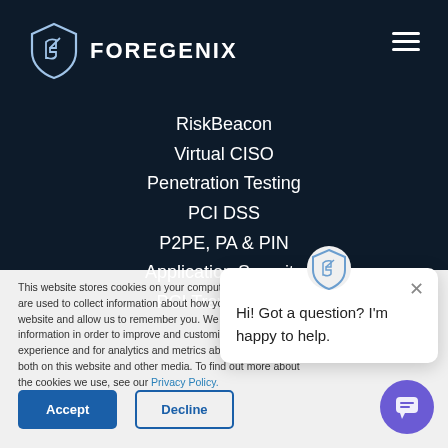[Figure (logo): Foregenix shield logo with stylized F, followed by FOREGENIX text in white on dark background]
RiskBeacon
Virtual CISO
Penetration Testing
PCI DSS
P2PE, PA & PIN
Application Security
PCI Travel Agent
This website stores cookies on your computer. These cookies are used to collect information about how you interact with our website and allow us to remember you. We use this information in order to improve and customize your browsing experience and for analytics and metrics about our visitors both on this website and other media. To find out more about the cookies we use, see our Privacy Policy.
Hi! Got a question? I'm happy to help.